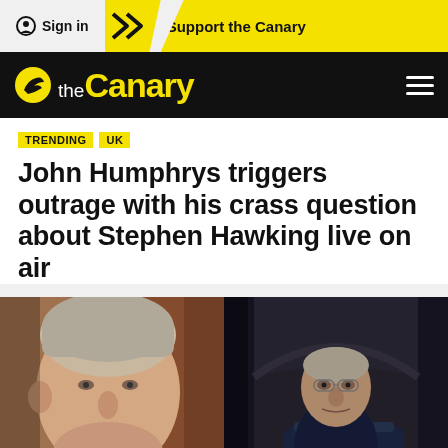Sign in | Support the Canary
[Figure (logo): The Canary logo — black navigation bar with yellow 'theCanary' wordmark and yellow circular bird icon]
TRENDING
UK
John Humphrys triggers outrage with his crass question about Stephen Hawking live on air
[Figure (photo): Split composite photo: left side shows John Humphrys (elderly man, grey hair) in close-up portrait; right side shows Stephen Hawking in his wheelchair against a stone archway background]